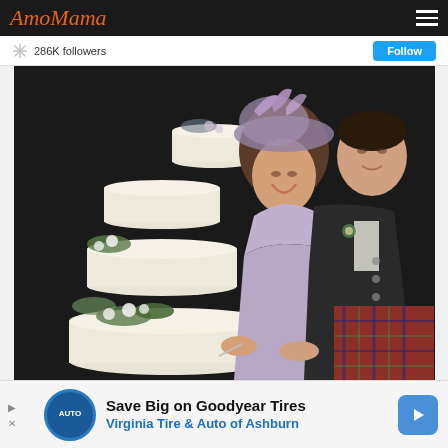AmoMama
286K followers
[Figure (photo): A couple cutting a multi-tiered white wedding cake decorated with flowers and greenery. The woman wears a lavender dress and a feathered purple hat, and the man wears a black jacket with a tartan kilt.]
Save Big on Goodyear Tires Virginia Tire & Auto of Ashburn